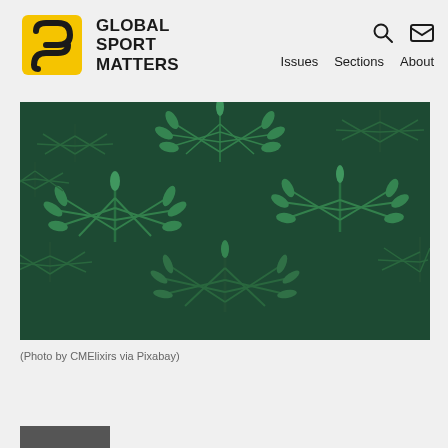GLOBAL SPORT MATTERS — Issues | Sections | About
[Figure (photo): Close-up photograph of cannabis (marijuana) plants with dense green foliage and multiple star-shaped leaf clusters filling the frame.]
(Photo by CMElixirs via Pixabay)